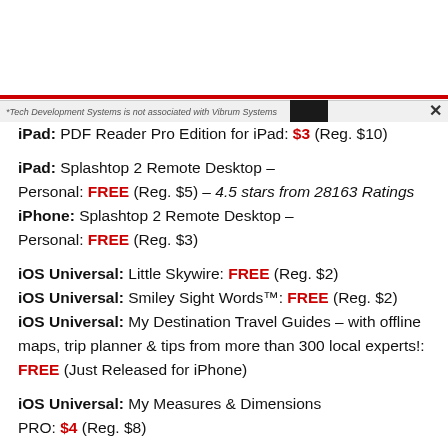*Tech Development Systems is not associated with Vibrum Systems
iPad: PDF Reader Pro Edition for iPad: $3 (Reg. $10)
iPad: Splashtop 2 Remote Desktop – Personal: FREE (Reg. $5) – 4.5 stars from 28163 Ratings
iPhone: Splashtop 2 Remote Desktop – Personal: FREE (Reg. $3)
iOS Universal: Little Skywire: FREE (Reg. $2)
iOS Universal: Smiley Sight Words™: FREE (Reg. $2)
iOS Universal: My Destination Travel Guides – with offline maps, trip planner & tips from more than 300 local experts!: FREE (Just Released for iPhone)
iOS Universal: My Measures & Dimensions PRO: $4 (Reg. $8)